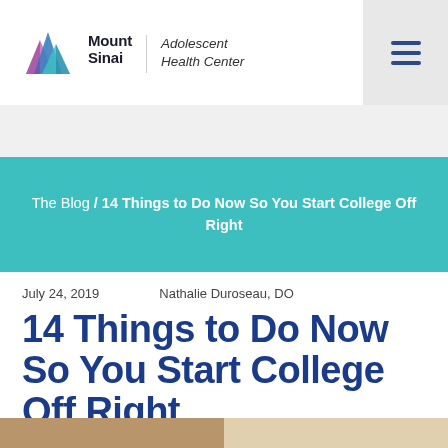Mount Sinai Adolescent Health Center
The Blog / 14 Things to Do Now So You Start College Off Right
July 24, 2019    Nathalie Duroseau, DO
14 Things to Do Now So You Start College Off Right
[Figure (photo): Photo strip showing students, partially visible at bottom of page]